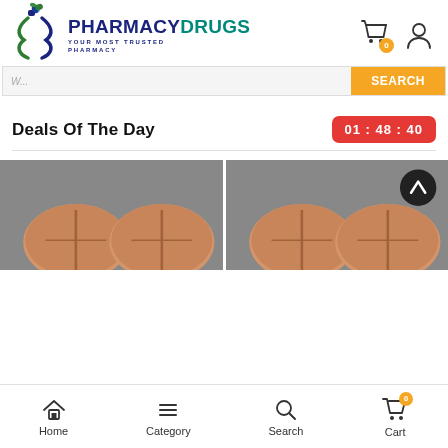[Figure (logo): PharmacyDrugs logo with DNA helix in green and blue, cross icon, brand name PHARMACYDRUGS, tagline YOUR MOST TRUSTED PHARMACY]
[Figure (screenshot): Search bar area with yellow SEARCH button partially visible]
Deals Of The Day
01 : 48 : 40
[Figure (photo): Two oval pharmacy tablets on grey background - left product card]
[Figure (photo): Two oval pharmacy tablets on grey background - right product card with scroll-to-top button]
Home  Category  Search  Cart